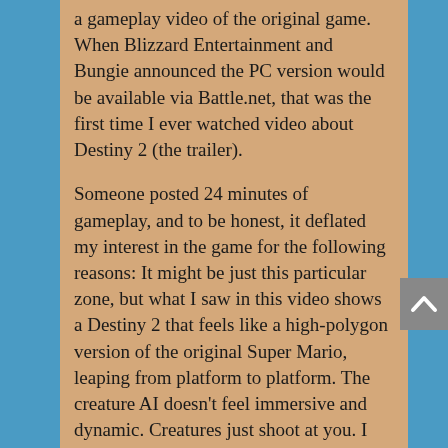a gameplay video of the original game. When Blizzard Entertainment and Bungie announced the PC version would be available via Battle.net, that was the first time I ever watched video about Destiny 2 (the trailer).
Someone posted 24 minutes of gameplay, and to be honest, it deflated my interest in the game for the following reasons: It might be just this particular zone, but what I saw in this video shows a Destiny 2 that feels like a high-polygon version of the original Super Mario, leaping from platform to platform. The creature AI doesn't feel immersive and dynamic. Creatures just shoot at you. I didn't hear any voice over from creatures attacking you. In World of Warcraft, if a Murloc aggroes